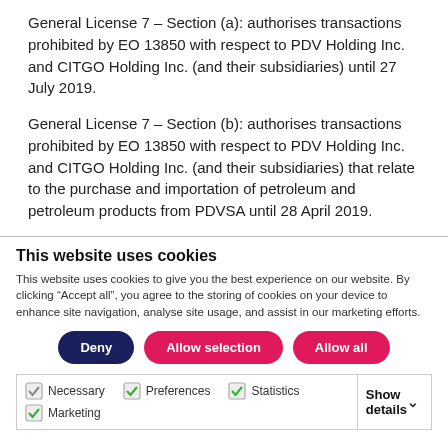General License 7 – Section (a): authorises transactions prohibited by EO 13850 with respect to PDV Holding Inc. and CITGO Holding Inc. (and their subsidiaries) until 27 July 2019.
General License 7 – Section (b): authorises transactions prohibited by EO 13850 with respect to PDV Holding Inc. and CITGO Holding Inc. (and their subsidiaries) that relate to the purchase and importation of petroleum and petroleum products from PDVSA until 28 April 2019.
This website uses cookies
This website uses cookies to give you the best experience on our website. By clicking “Accept all”, you agree to the storing of cookies on your device to enhance site navigation, analyse site usage, and assist in our marketing efforts.
Deny | Allow selection | Allow all
| Necessary  Preferences  Statistics  Marketing | Show details |